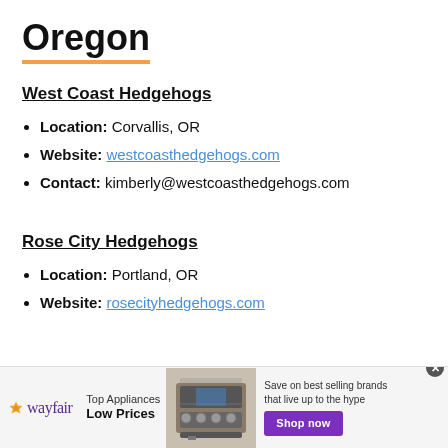Oregon
West Coast Hedgehogs
Location: Corvallis, OR
Website: westcoasthedgehogs.com
Contact: kimberly@westcoasthedgehogs.com
Rose City Hedgehogs
Location: Portland, OR
Website: rosecityhedgehogs.com
[Figure (screenshot): Wayfair advertisement banner: Top Appliances Low Prices, Save on best selling brands that live up to the hype, Shop now button]